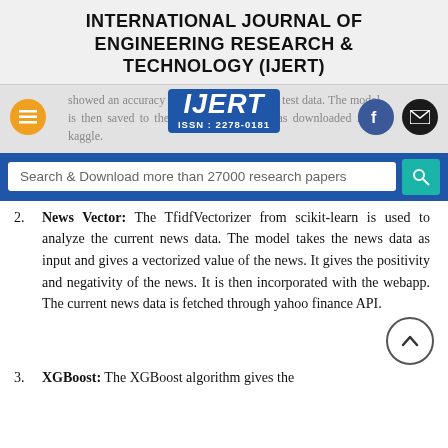INTERNATIONAL JOURNAL OF ENGINEERING RESEARCH & TECHNOLOGY (IJERT)
showed an accuracy 99% accuracy with the test data. The model is then saved to the webapp. The data was downloaded from kaggle.
[Figure (logo): IJERT logo with ISSN: 2278-0181]
Search & Download more than 27000 research papers
2. News Vector: The TfidfVectorizer from scikit-learn is used to analyze the current news data. The model takes the news data as input and gives a vectorized value of the news. It gives the positivity and negativity of the news. It is then incorporated with the webapp. The current news data is fetched through yahoo finance API.
3. XGBoost: The XGBoost algorithm gives the